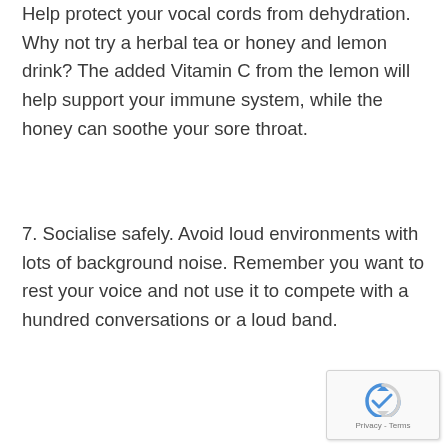Help protect your vocal cords from dehydration. Why not try a herbal tea or honey and lemon drink? The added Vitamin C from the lemon will help support your immune system, while the honey can soothe your sore throat.
7. Socialise safely. Avoid loud environments with lots of background noise. Remember you want to rest your voice and not use it to compete with a hundred conversations or a loud band.
[Figure (logo): reCAPTCHA badge with recycling-arrow logo and Privacy - Terms text]